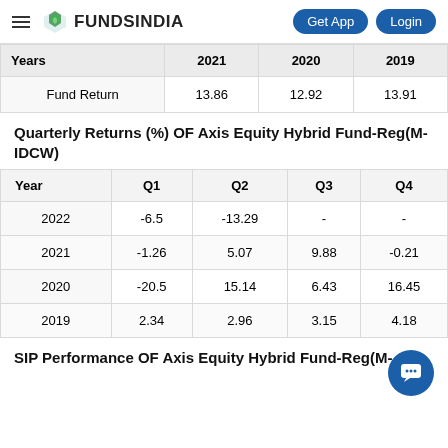FUNDSINDIA | Get App | Login
| Years | 2021 | 2020 | 2019 |
| --- | --- | --- | --- |
| Fund Return | 13.86 | 12.92 | 13.91 |
Quarterly Returns (%) OF Axis Equity Hybrid Fund-Reg(M-IDCW)
| Year | Q1 | Q2 | Q3 | Q4 |
| --- | --- | --- | --- | --- |
| 2022 | -6.5 | -13.29 | - | - |
| 2021 | -1.26 | 5.07 | 9.88 | -0.21 |
| 2020 | -20.5 | 15.14 | 6.43 | 16.45 |
| 2019 | 2.34 | 2.96 | 3.15 | 4.18 |
SIP Performance OF Axis Equity Hybrid Fund-Reg(M-